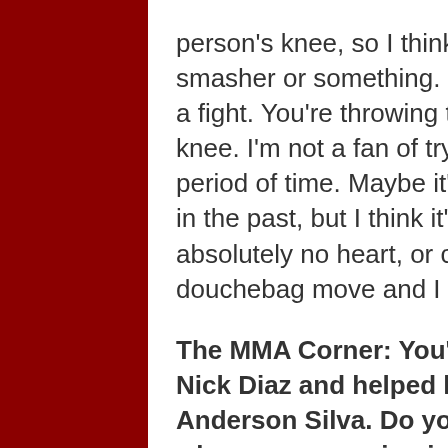person's knee, so I think it should be called the knee smasher or something. I just think it's a shitty way to go into a fight. You're throwing that kick simply to destroy a guy's knee. I'm not a fan of trying to injure somebody for a long period of time. Maybe it's because I had two knee surgeries in the past, but I think it's a chicken-shit move. It shows absolutely no heart, or courage, or technique. It's just a douchebag move and I don't like it.
The MMA Corner: You're a frequent training partner of Nick Diaz and helped him train for his fight against Anderson Silva. Do you approach training differently when you are going into camp as a sparring partner for someone else as opposed to training for your own fight?
Schilling: Going into a fight camp for myself, I'm just doing basically what I would do as a coach, but for myself. I'm studying my opponent as opposed to Nick's opponent. I'm looking at my strength and weaknesses as opposed to